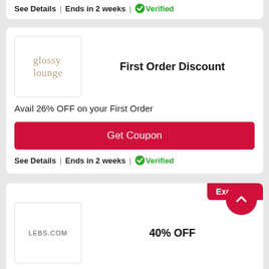See Details | Ends in 2 weeks | Verified
First Order Discount
Avail 26% OFF on your First Order
Get Coupon
See Details | Ends in 2 weeks | Verified
Exclusive
40% OFF
Lebs.com Coupon Code: Avail Up to 40% OFF on Sandals + 5% OFF
Get Coupon